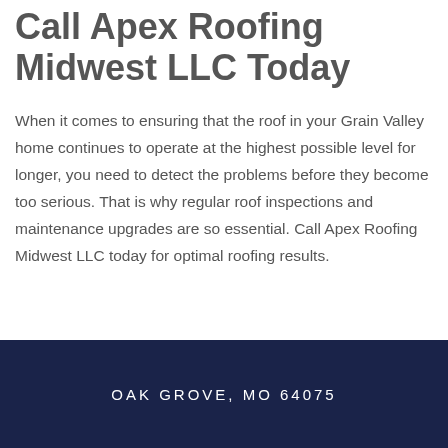Call Apex Roofing Midwest LLC Today
When it comes to ensuring that the roof in your Grain Valley home continues to operate at the highest possible level for longer, you need to detect the problems before they become too serious. That is why regular roof inspections and maintenance upgrades are so essential. Call Apex Roofing Midwest LLC today for optimal roofing results.
OAK GROVE, MO 64075